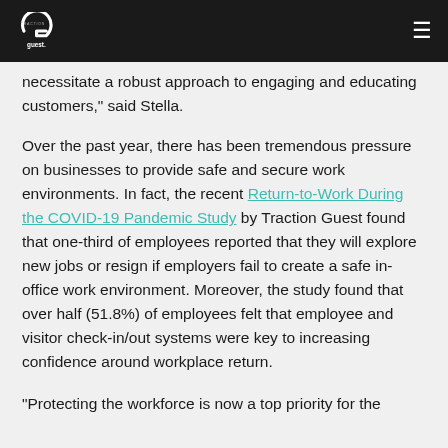Traction Guest
necessitate a robust approach to engaging and educating customers,” said Stella.
Over the past year, there has been tremendous pressure on businesses to provide safe and secure work environments. In fact, the recent Return-to-Work During the COVID-19 Pandemic Study by Traction Guest found that one-third of employees reported that they will explore new jobs or resign if employers fail to create a safe in-office work environment. Moreover, the study found that over half (51.8%) of employees felt that employee and visitor check-in/out systems were key to increasing confidence around workplace return.
“Protecting the workforce is now a top priority for the